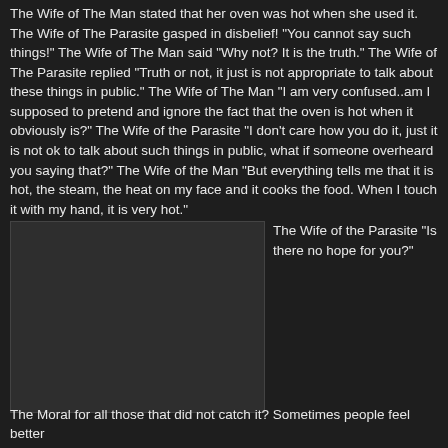The Wife of The Man stated that her oven was hot when she used it. The Wife of The Parasite gasped in disbelief! "You cannot say such things!" The Wife of The Man said "Why not? It is the truth." The Wife of The Parasite replied "Truth or not, it just is not appropriate to talk about these things in public." The Wife of The Man "I am very confused..am I supposed to pretend and ignore the fact that the oven is hot when it obviously is?" The Wife of the Parasite "I don't care how you do it, just it is not ok to talk about such things in public, what if someone overheard you saying that?" The Wife of the Man "But everything tells me that it is hot, the steam, the heat on my face and it cooks the food. When I touch it with my hand, it is very hot."
[Figure (photo): Dark placeholder image box on the left side of the page]
The Wife of the Parasite "Is there no hope for you?"
The Moral for all those that did not catch it? Sometimes people feel better